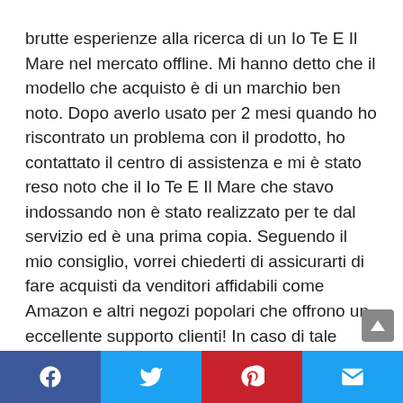brutte esperienze alla ricerca di un Io Te E Il Mare nel mercato offline. Mi hanno detto che il modello che acquisto è di un marchio ben noto. Dopo averlo usato per 2 mesi quando ho riscontrato un problema con il prodotto, ho contattato il centro di assistenza e mi è stato reso noto che il Io Te E Il Mare che stavo indossando non è stato realizzato per te dal servizio ed è una prima copia. Seguendo il mio consiglio, vorrei chiederti di assicurarti di fare acquisti da venditori affidabili come Amazon e altri negozi popolari che offrono un eccellente supporto clienti! In caso di tale truffa, puoi contattare Amazon – segnalare attività fraudolente, aiutare altre persone a evitare l'acquisto e anche ottenere un rimborso.
Facebook | Twitter | Pinterest | Email